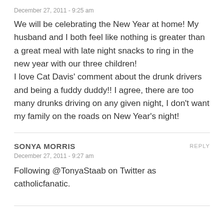December 27, 2011 - 9:25 am
We will be celebrating the New Year at home! My husband and I both feel like nothing is greater than a great meal with late night snacks to ring in the new year with our three children!
I love Cat Davis' comment about the drunk drivers and being a fuddy duddy!! I agree, there are too many drunks driving on any given night, I don't want my family on the roads on New Year's night!
SONYA MORRIS
REPLY
December 27, 2011 - 9:27 am
Following @TonyaStaab on Twitter as catholicfanatic.